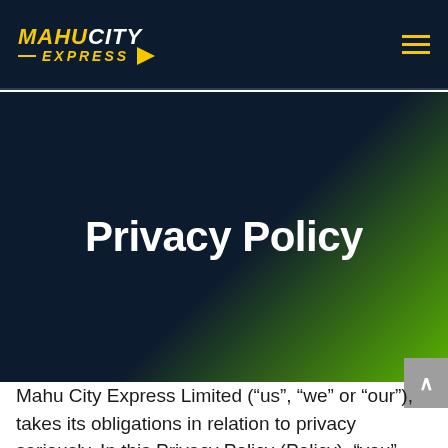[Figure (logo): Mahu City Express logo with yellow and white text on dark navy background, with hamburger menu icon]
Privacy Policy
Mahu City Express Limited (“us”, “we” or “our”), takes its obligations in relation to privacy seriously. In this Privacy Policy (Policy), “you” and “your” means the individual providing